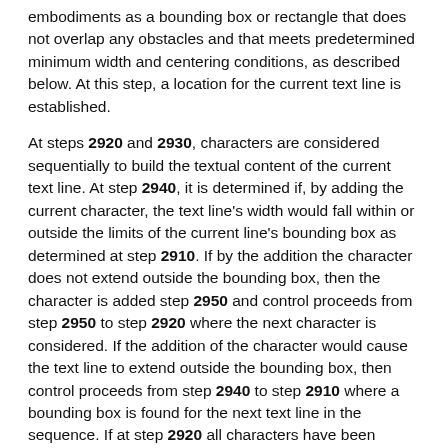embodiments as a bounding box or rectangle that does not overlap any obstacles and that meets predetermined minimum width and centering conditions, as described below. At this step, a location for the current text line is established.
At steps 2920 and 2930, characters are considered sequentially to build the textual content of the current text line. At step 2940, it is determined if, by adding the current character, the text line's width would fall within or outside the limits of the current line's bounding box as determined at step 2910. If by the addition the character does not extend outside the bounding box, then the character is added step 2950 and control proceeds from step 2950 to step 2920 where the next character is considered. If the addition of the character would cause the text line to extend outside the bounding box, then control proceeds from step 2940 to step 2910 where a bounding box is found for the next text line in the sequence. If at step 2920 all characters have been considered, then processing exits at step 2960.
It is to be understood that alternative versions of the